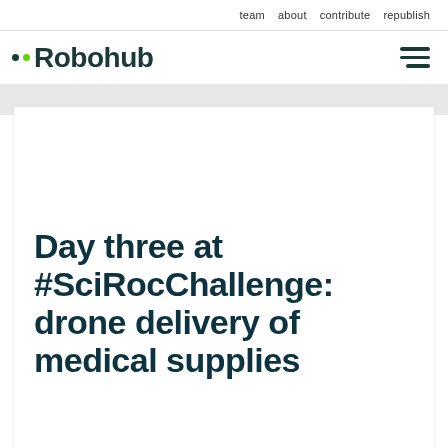team   about   contribute   republish
[Figure (logo): Robohub logo with two dots (one green, one dark) and stylized text 'Robohub' in dark teal, plus hamburger menu icon on the right]
Day three at #SciRocChallenge: drone delivery of medical supplies